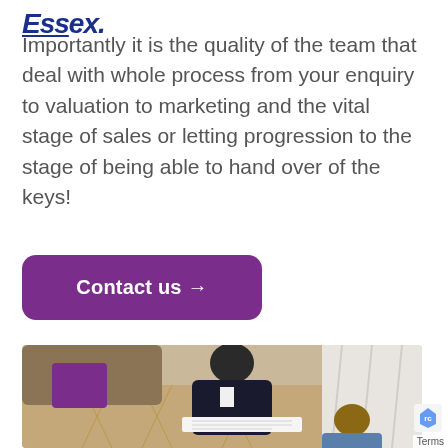Essex.
Importantly it is the quality of the team that deal with whole process from your enquiry to valuation to marketing and the vital stage of sales or letting progression to the stage of being able to hand over of the keys!
[Figure (other): Purple rounded rectangle button with white bold text 'Contact us →']
[Figure (photo): Overhead photo of a real estate agent meeting with clients in a living room, showing a man in a suit leaning over documents, with a purple cushion on a leather sofa in the background and wooden parquet flooring.]
Terms